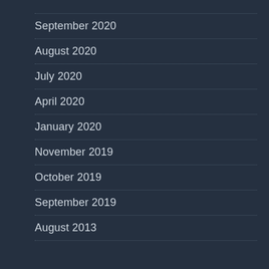September 2020
August 2020
July 2020
April 2020
January 2020
November 2019
October 2019
September 2019
August 2013